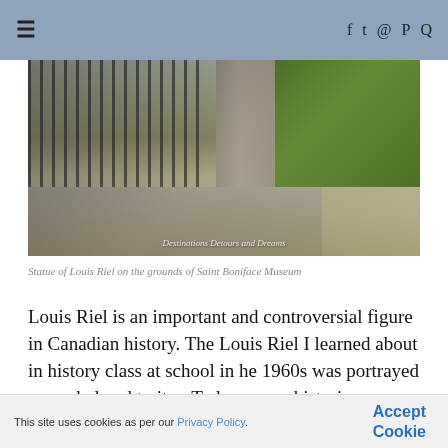≡  f  twitter  mail  pinterest  search
[Figure (photo): Photograph of a statue of Louis Riel on the grounds of Saint Boniface Museum, showing iron fence, concrete column, steps, and greenery in background. Watermark reads: Destinations Detours and Dreams]
Statue of Louis Riel on the grounds of Saint Boniface Museum
Louis Riel is an important and controversial figure in Canadian history. The Louis Riel I learned about in history class at school in he 1960s was portrayed as a rebel and traitor. Today, many historians sympathize with Riel as a Métis leader who fought for the rights
This site uses cookies as per our Privacy Policy.  Accept Cookie